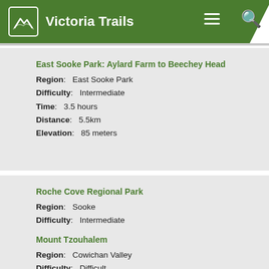Victoria Trails
East Sooke Park: Aylard Farm to Beechey Head
Region: East Sooke Park
Difficulty: Intermediate
Time: 3.5 hours
Distance: 5.5km
Elevation: 85 meters
Roche Cove Regional Park
Region: Sooke
Difficulty: Intermediate
Time: 2.5 hours
Distance: 6km
Elevation: 50 meters
Mount Tzouhalem
Region: Cowichan Valley
Difficulty: Difficult
Time: 3.5 hours